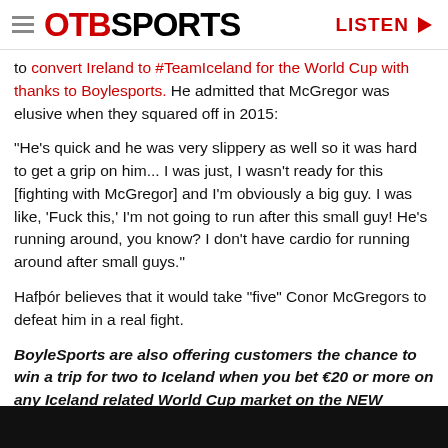OTB SPORTS | LISTEN
to convert Ireland to #TeamIceland for the World Cup with thanks to Boylesports. He admitted that McGregor was elusive when they squared off in 2015:
"He's quick and he was very slippery as well so it was hard to get a grip on him... I was just, I wasn't ready for this [fighting with McGregor] and I'm obviously a big guy. I was like, 'Fuck this,' I'm not going to run after this small guy! He's running around, you know? I don't have cardio for running around after small guys."
Hafþór believes that it would take "five" Conor McGregors to defeat him in a real fight.
BoyleSports are also offering customers the chance to win a trip for two to Iceland when you bet €20 or more on any Iceland related World Cup market on the NEW BoyleSports App. The lucky customer will win return flights for two from Dublin to Reykjavik, two nights stay in a 4* accommodation, an official Game of Thrones tour and to top it all off, €500 spending money.
[Figure (photo): Dark/black image at the bottom of the page]